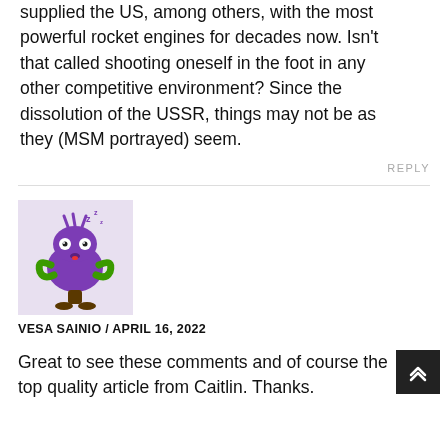supplied the US, among others, with the most powerful rocket engines for decades now. Isn't that called shooting oneself in the foot in any other competitive environment? Since the dissolution of the USSR, things may not be as they (MSM portrayed) seem.
REPLY
[Figure (illustration): Cartoon avatar of a purple alien/monster creature with green arms, wide eyes, and a small red tongue, standing on a brown tree-trunk-like base, on a light purple background.]
VESA SAINIO / APRIL 16, 2022
Great to see these comments and of course the top quality article from Caitlin. Thanks.